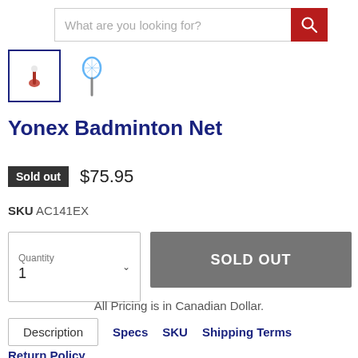[Figure (screenshot): Search bar with text 'What are you looking for?' and red search button]
[Figure (photo): Two product thumbnail images: a shuttlecock and a badminton racket]
Yonex Badminton Net
Sold out   $75.95
SKU AC141EX
Quantity 1 ∨  SOLD OUT
All Pricing is in Canadian Dollar.
Description  Specs  SKU  Shipping Terms
Return Policy